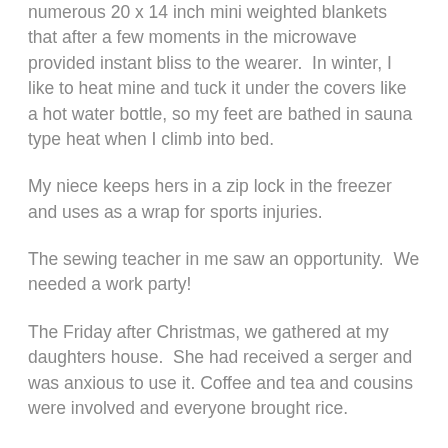numerous 20 x 14 inch mini weighted blankets that after a few moments in the microwave provided instant bliss to the wearer.  In winter, I like to heat mine and tuck it under the covers like a hot water bottle, so my feet are bathed in sauna type heat when I climb into bed.
My niece keeps hers in a zip lock in the freezer and uses as a wrap for sports injuries.
The sewing teacher in me saw an opportunity.  We needed a work party!
The Friday after Christmas, we gathered at my daughters house.  She had received a serger and was anxious to use it. Coffee and tea and cousins were involved and everyone brought rice.